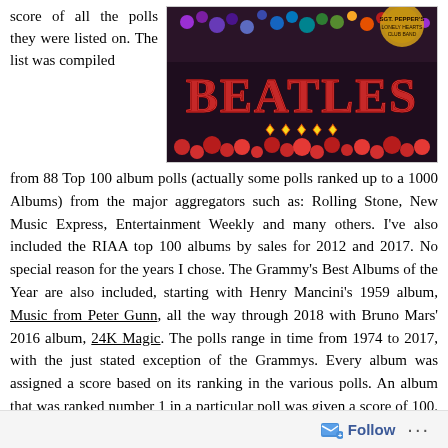score of all the polls they were listed on. The list was compiled
[Figure (photo): Beatles Sgt. Pepper album cover style floral arrangement spelling BEATLES in red flowers with colorful background]
from 88 Top 100 album polls (actually some polls ranked up to a 1000 Albums) from the major aggregators such as: Rolling Stone, New Music Express, Entertainment Weekly and many others. I've also included the RIAA top 100 albums by sales for 2012 and 2017. No special reason for the years I chose. The Grammy's Best Albums of the Year are also included, starting with Henry Mancini's 1959 album, Music from Peter Gunn, all the way through 2018 with Bruno Mars' 2016 album, 24K Magic. The polls range in time from 1974 to 2017, with the just stated exception of the Grammys. Every album was assigned a score based on its ranking in the various polls. An album that was ranked number 1 in a particular poll was given a score of 100. An album ranked at 100 was given a score of 1. The album's scores from all the polls were then summed. The album with the greatest sum was ranked as the number 1
Follow ...